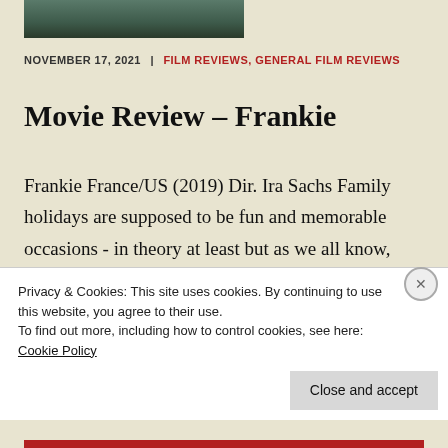[Figure (photo): Partial top of a photo showing a person, cropped at top of page]
NOVEMBER 17, 2021 | FILM REVIEWS, GENERAL FILM REVIEWS
Movie Review – Frankie
Frankie France/US (2019) Dir. Ira Sachs Family holidays are supposed to be fun and memorable occasions - in theory at least but as we all know, people and circumstances can do their best to ruin
Privacy & Cookies: This site uses cookies. By continuing to use this website, you agree to their use.
To find out more, including how to control cookies, see here: Cookie Policy
Close and accept